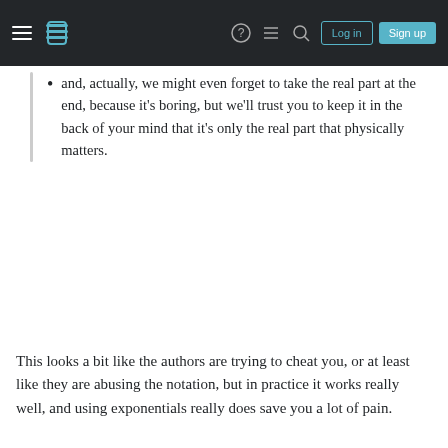Stack Exchange navigation bar with Log in and Sign up buttons
and, actually, we might even forget to take the real part at the end, because it's boring, but we'll trust you to keep it in the back of your mind that it's only the real part that physically matters.
This looks a bit like the authors are trying to cheat you, or at least like they are abusing the notation, but in practice it works really well, and using exponentials really does save you a lot of pain.
Your privacy
By clicking "Accept all cookies", you agree Stack Exchange can store cookies on your device and disclose information in accordance with our Cookie Policy.